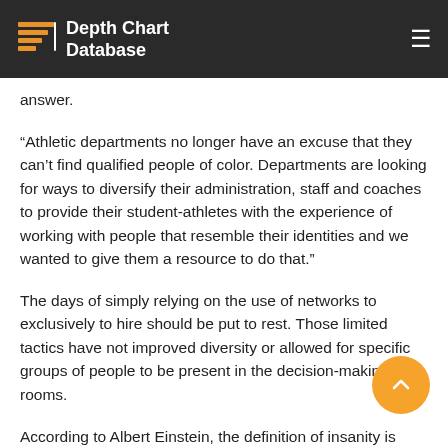Depth Chart Database
answer.
“Athletic departments no longer have an excuse that they can’t find qualified people of color. Departments are looking for ways to diversify their administration, staff and coaches to provide their student-athletes with the experience of working with people that resemble their identities and we wanted to give them a resource to do that.”
The days of simply relying on the use of networks to exclusively to hire should be put to rest. Those limited tactics have not improved diversity or allowed for specific groups of people to be present in the decision-making rooms.
According to Albert Einstein, the definition of insanity is doing the same thing over and over again and expecting a different